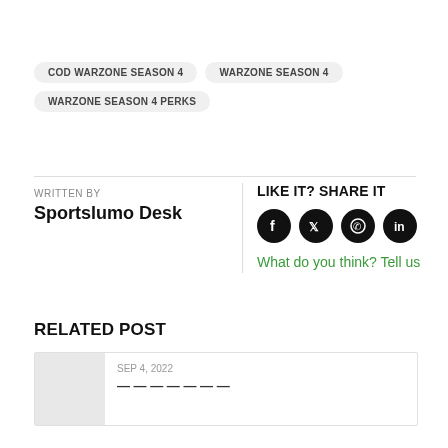COD WARZONE SEASON 4
WARZONE SEASON 4
WARZONE SEASON 4 PERKS
WRITTEN BY
Sportslumo Desk
LIKE IT? SHARE IT
What do you think? Tell us
RELATED POST
SEP 4, 2022